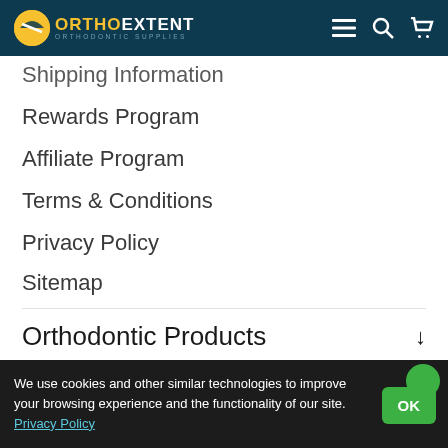OrthoExtent - Orthodontic Supplies
Shipping Information
Rewards Program
Affiliate Program
Terms & Conditions
Privacy Policy
Sitemap
Orthodontic Products
[Figure (logo): Secure payments processed by Authorize.Net with MasterCard, Visa, and Discover card logos]
We use cookies and other similar technologies to improve your browsing experience and the functionality of our site. Privacy Policy
OK